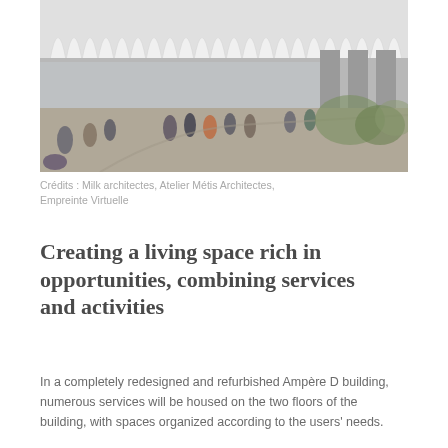[Figure (photo): Architectural rendering of a modern building with white arched/ribbed facade. People are walking and gathering in front of the building on a pedestrian plaza with greenery and trees.]
Crédits : Milk architectes, Atelier Métis Architectes, Empreinte Virtuelle
Creating a living space rich in opportunities, combining services and activities
In a completely redesigned and refurbished Ampère D building, numerous services will be housed on the two floors of the building, with spaces organized according to the users' needs.